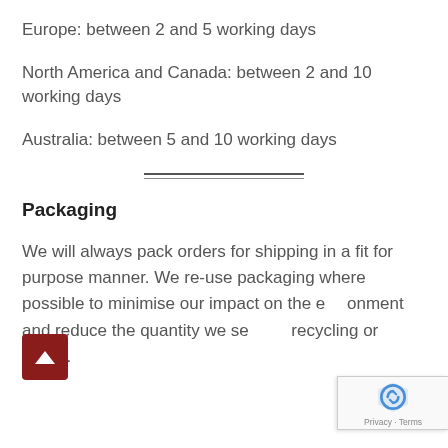Europe: between 2 and 5 working days
North America and Canada: between 2 and 10 working days
Australia: between 5 and 10 working days
Packaging
We will always pack orders for shipping in a fit for purpose manner. We re-use packaging where possible to minimise our impact on the environment and reduce the quantity we send to recycling or waste.